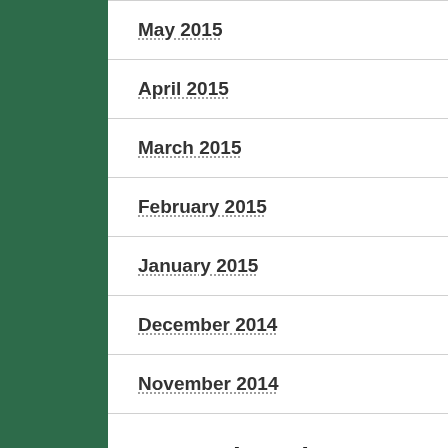May 2015
April 2015
March 2015
February 2015
January 2015
December 2014
November 2014
#StopTheDebtTrap on Twitter
Progressive Maryland: We have 2 more days to #StopTheDebtTrap! The CFPB wants to get rid of a...